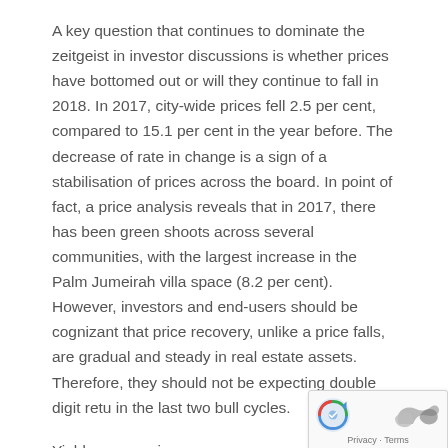A key question that continues to dominate the zeitgeist in investor discussions is whether prices have bottomed out or will they continue to fall in 2018. In 2017, city-wide prices fell 2.5 per cent, compared to 15.1 per cent in the year before. The decrease of rate in change is a sign of a stabilisation of prices across the board. In point of fact, a price analysis reveals that in 2017, there has been green shoots across several communities, with the largest increase in the Palm Jumeirah villa space (8.2 per cent). However, investors and end-users should be cognizant that price recovery, unlike a price falls, are gradual and steady in real estate assets. Therefore, they should not be expecting double digit retu in the last two bull cycles.
Yield compression
As witnessed in 2017, there has been a city-wide yield compression from nine per cent to seven per cent, which we